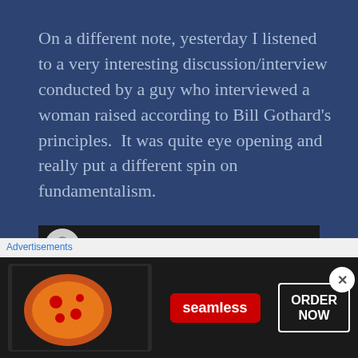On a different note, yesterday I listened to a very interesting discussion/interview conducted by a guy who interviewed a woman raised according to Bill Gothard's principles.  It was quite eye opening and really put a different spin on fundamentalism.
[Figure (screenshot): YouTube video card showing 'Growing Up Qui...' with a male avatar thumbnail on the left, three-dot menu on the right, and a partial video thumbnail below showing 'ng Up' text on the left and '19ki' on the right against a dark blue background.]
[Figure (other): Close button (X) circle overlapping the bottom-right of the video card.]
Advertisements
[Figure (screenshot): Seamless food delivery advertisement banner with pizza image on left, red 'seamless' logo in center, and 'ORDER NOW' button with white border on the right, all on a dark background.]